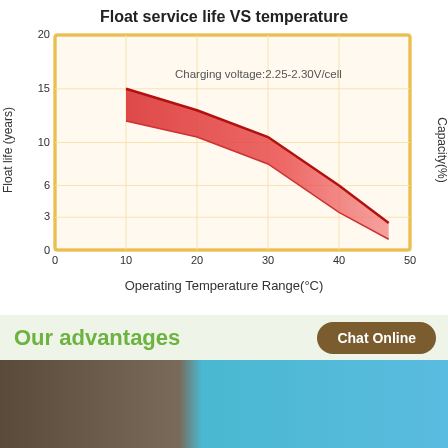[Figure (continuous-plot): A continuous area/band chart showing float service life (years) vs operating temperature range (°C). The red shaded band shows float life decreasing from approximately 12-15 years at 10°C down to approximately 1-2.5 years at 45-50°C. An annotation reads 'Charging voltage:2.25-2.30V/cell'. Y-axis ticks: 3, 6, 10, 15, 20. X-axis ticks: 0, 10, 20, 30, 40, 50. Right y-axis label: Capacity(%). Chart area bordered by orange rectangle.]
Our advantages
[Figure (photo): Partial view of product/manufacturing photo at bottom of page, partially cut off.]